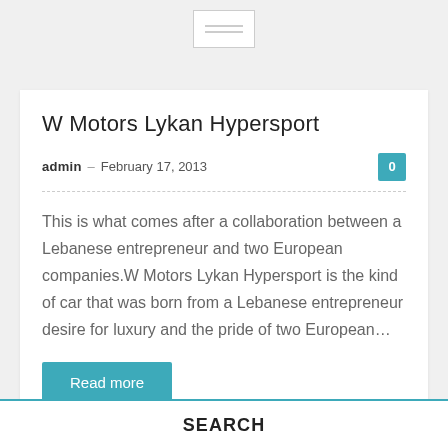[Figure (logo): Logo placeholder with two horizontal lines on white background]
W Motors Lykan Hypersport
admin · February 17, 2013
This is what comes after a collaboration between a Lebanese entrepreneur and two European companies.W Motors Lykan Hypersport is the kind of car that was born from a Lebanese entrepreneur desire for luxury and the pride of two European…
Read more
SEARCH